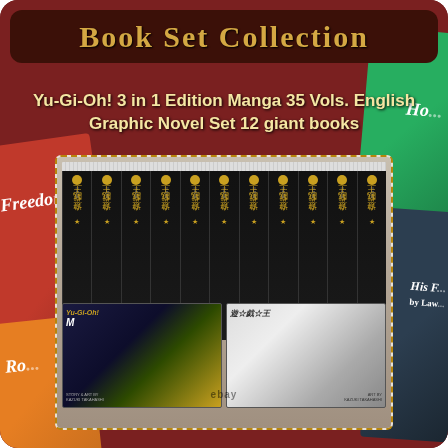Book Set Collection
Yu-Gi-Oh! 3 in 1 Edition Manga 35 Vols. English Graphic Novel Set 12 giant books
[Figure (photo): Photo of Yu-Gi-Oh! 3 in 1 Edition Manga set showing approximately 12 black-spined books standing upright with two volumes laid flat in front displaying the manga covers, with eBay watermark visible]